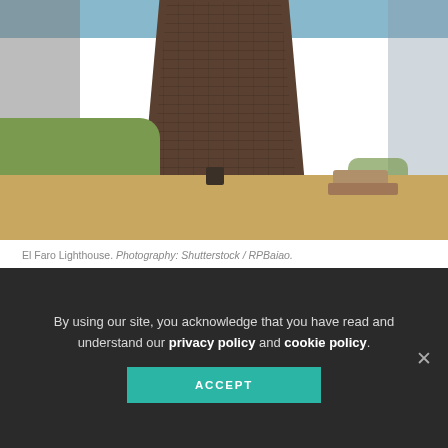[Figure (photo): Photo of El Faro Lighthouse ruins — stone walls, sandy ground, green grass patches, and blue sky in background]
El Faro Lighthouse. Photography: Shutterstock / RPBaiao.
Talk a walk down the iconic Calle de Los
By using our site, you acknowledge that you have read and understand our privacy policy and cookie policy.
ACCEPT